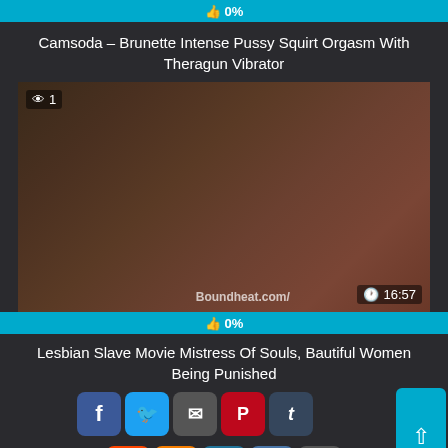👍 0%
Camsoda – Brunette Intense Pussy Squirt Orgasm With Theragun Vibrator
[Figure (screenshot): Video thumbnail showing adult content with watermark 'Boundheat.com/', view count '1', and duration '16:57']
👍 0%
Lesbian Slave Movie Mistress Of Souls, Bautiful Women Being Punished
[Figure (screenshot): Social share buttons: Facebook, Twitter, Email, Pinterest, Tumblr, Reddit, Blogger, WordPress, VK, More; and a back-to-top button]
[Figure (screenshot): Bottom video thumbnail partially visible]